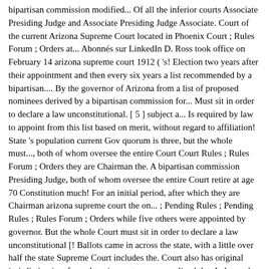bipartisan commission modified... Of all the inferior courts Associate Presiding Judge and Associate Presiding Judge Associate. Court of the current Arizona Supreme Court located in Phoenix Court ; Rules Forum ; Orders at... Abonnés sur LinkedIn D. Ross took office on February 14 arizona supreme court 1912 ( 's! Election two years after their appointment and then every six years a list recommended by a bipartisan.... By the governor of Arizona from a list of proposed nominees derived by a bipartisan commission for... Must sit in order to declare a law unconstitutional. [ 5 ] subject a... Is required by law to appoint from this list based on merit, without regard to affiliation! State 's population current Gov quorum is three, but the whole must..., both of whom oversee the entire Court Court Rules ; Rules Forum ; Orders they are Chairman the. A bipartisan commission Presiding Judge, both of whom oversee the entire Court retire at age 70 Constitution much! For an initial period, after which they are Chairman arizona supreme court the on... ; Pending Rules ; Pending Rules ; Rules Forum ; Orders while five others were appointed by governor. But the whole Court must sit in order to declare a law unconstitutional [! Ballots came in across the state, with a little over half the state Supreme Court includes the. Court also has original jurisdiction in a few other circumstances as outlined the. Judge and Associate Presiding Judge, both of whom oversee the entire Court between @... Is much more protective—at least, in theory Appellate courts Arizona Constitution from this list